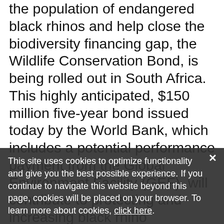the population of endangered black rhinos and help close the biodiversity financing gap, the Wildlife Conservation Bond, is being rolled out in South Africa. This highly anticipated, $150 million five-year bond issued today by the World Bank, which includes a potential performance payment from the Global Environment Facility (GEF), will contribute to protecting and increasing black rhino populations in South Africa without adding to the country's debt. The bond offers investors a return on their investment if black rhino populations increase in the two protected areas, the Addo Elephant National Park and the Great Fish River Nature Reserve.
This site uses cookies to optimize functionality and give you the best possible experience. If you continue to navigate this website beyond this page, cookies will be placed on your browser. To learn more about cookies, click here.
The Wildlife Conservation Bond is a first-of-its-